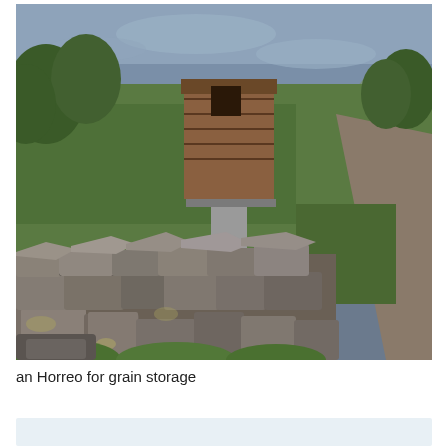[Figure (photo): Outdoor photograph taken at dusk showing a traditional stone wall in the foreground made of large irregular stacked grey stones with lichen. Behind the wall is a green grassy field. In the background stands an elevated wooden grain storage structure (Horreo) supported on a concrete pillar. Trees and mountains are visible in the background under a cloudy blue-grey sky. A narrow path or road runs along the right side of the stone wall.]
an Horreo for grain storage